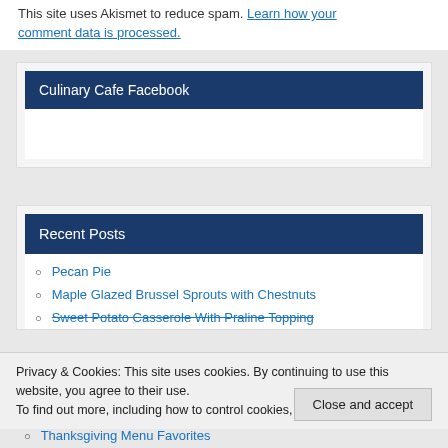This site uses Akismet to reduce spam. Learn how your comment data is processed.
Culinary Cafe Facebook
Recent Posts
Pecan Pie
Maple Glazed Brussel Sprouts with Chestnuts
Sweet Potato Casserole With Praline Topping
Privacy & Cookies: This site uses cookies. By continuing to use this website, you agree to their use.
To find out more, including how to control cookies, see here: Cookie Policy
Close and accept
Thanksgiving Menu Favorites